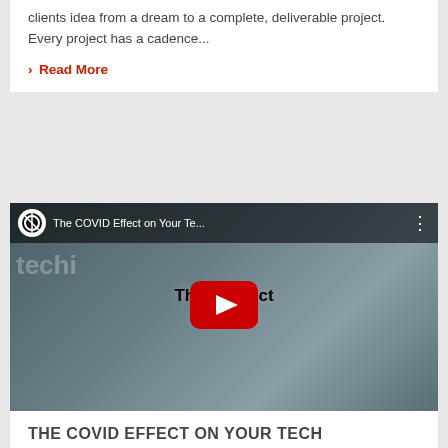clients idea from a dream to a complete, deliverable project. Every project has a cadence...
> Read More
[Figure (screenshot): YouTube video thumbnail showing two men talking with a podcast microphone. Overlay text reads 'The COVID Effect on your tech'. YouTube play button in center. Top bar shows channel logo and title 'The COVID Effect on Your Te...']
THE COVID EFFECT ON YOUR TECH
Videos